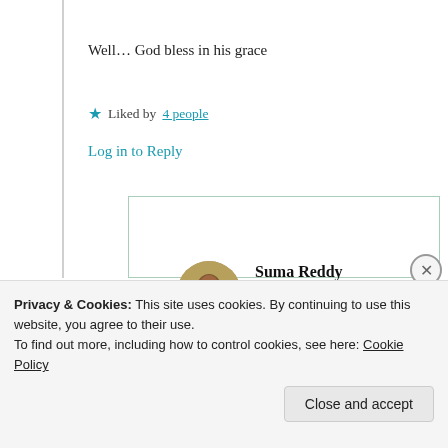Well… God bless in his grace
★ Liked by 4 people
Log in to Reply
Suma Reddy
3rd Mar 2021 at 5:09 pm
Privacy & Cookies: This site uses cookies. By continuing to use this website, you agree to their use.
To find out more, including how to control cookies, see here: Cookie Policy
Close and accept